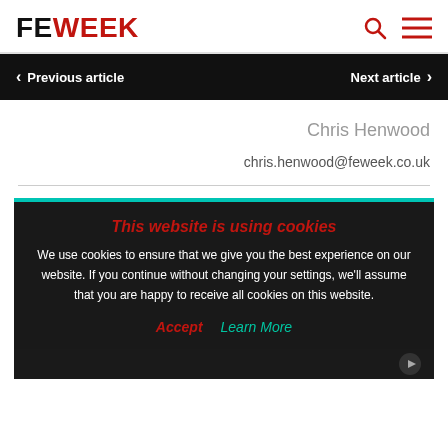FE WEEK
Previous article | Next article
Chris Henwood
chris.henwood@feweek.co.uk
This website is using cookies
We use cookies to ensure that we give you the best experience on our website. If you continue without changing your settings, we'll assume that you are happy to receive all cookies on this website.
Accept  Learn More